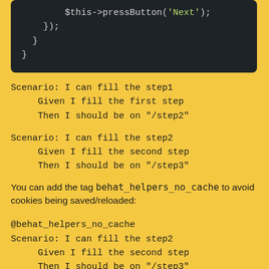[Figure (screenshot): Dark code block showing PHP code snippet: $this->pressButton('Next'); });  }  }]
Scenario: I can fill the step1
     Given I fill the first step
     Then I should be on "/step2"
Scenario: I can fill the step2
     Given I fill the second step
     Then I should be on "/step3"
You can add the tag behat_helpers_no_cache to avoid cookies being saved/reloaded:
@behat_helpers_no_cache
Scenario: I can fill the step2
     Given I fill the second step
     Then I should be on "/step3"